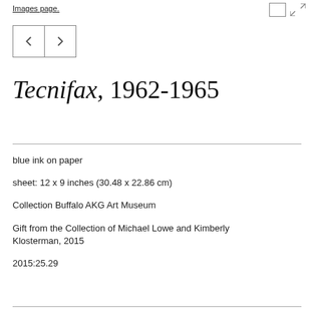Images page.
[Figure (other): Navigation arrows (previous/next) in a bordered box]
Tecnifax, 1962-1965
blue ink on paper
sheet: 12 x 9 inches (30.48 x 22.86 cm)
Collection Buffalo AKG Art Museum
Gift from the Collection of Michael Lowe and Kimberly Klosterman, 2015
2015:25.29